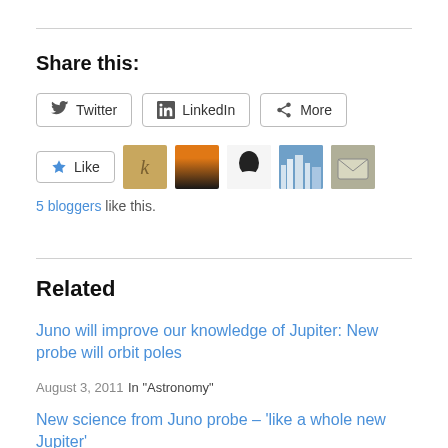Share this:
Twitter  LinkedIn  More
[Figure (other): Like button and 5 blogger avatars]
5 bloggers like this.
Related
Juno will improve our knowledge of Jupiter: New probe will orbit poles
August 3, 2011
In "Astronomy"
New science from Juno probe – 'like a whole new Jupiter'
May 4, 2018
In "research"
Hubble captures mysterious aurora the size of Earth over